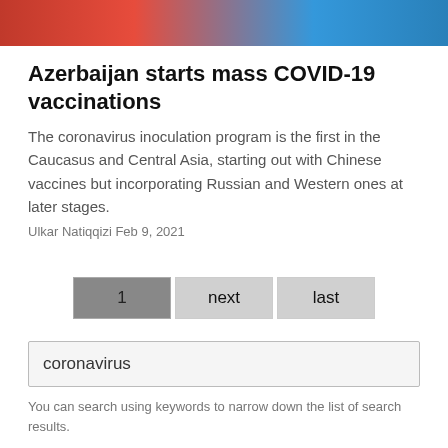[Figure (photo): Partial photo strip showing people in red and blue clothing at top of page]
Azerbaijan starts mass COVID-19 vaccinations
The coronavirus inoculation program is the first in the Caucasus and Central Asia, starting out with Chinese vaccines but incorporating Russian and Western ones at later stages.
Ulkar Natiqqizi Feb 9, 2021
1 next last
coronavirus
You can search using keywords to narrow down the list of search results.
Regions